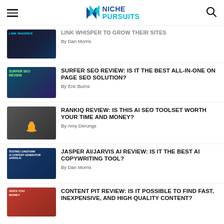NICHE PURSUITS
LINK WHISPER TO GROW THEIR SITES — By Dan Morris
SURFER SEO REVIEW: IS IT THE BEST ALL-IN-ONE ON PAGE SEO SOLUTION? — By Eric Burns
RANKIQ REVIEW: IS THIS AI SEO TOOLSET WORTH YOUR TIME AND MONEY? — By Amy Derungs
JASPER AI/JARVIS AI REVIEW: IS IT THE BEST AI COPYWRITING TOOL? — By Dan Morris
CONTENT PIT REVIEW: IS IT POSSIBLE TO FIND FAST, INEXPENSIVE, AND HIGH QUALITY CONTENT?